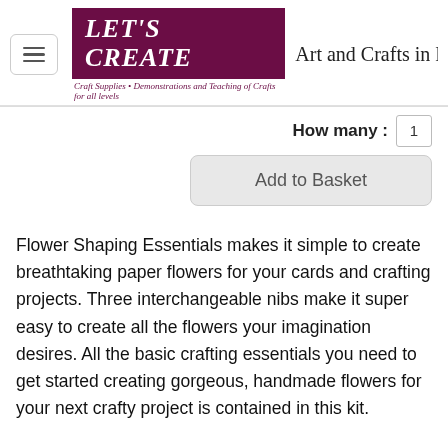LET'S CREATE — Art and Crafts in Lin
How many : 1
Add to Basket
Flower Shaping Essentials makes it simple to create breathtaking paper flowers for your cards and crafting projects. Three interchangeable nibs make it super easy to create all the flowers your imagination desires. All the basic crafting essentials you need to get started creating gorgeous, handmade flowers for your next crafty project is contained in this kit.